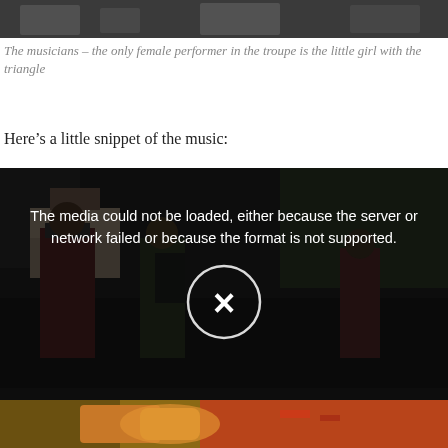[Figure (photo): Top portion of a photo showing musicians, mostly cropped, dark background]
The musicians – the only female performer in the troupe is the little girl with the triangle
Here's a little snippet of the music:
[Figure (screenshot): Video player screenshot showing media error: 'The media could not be loaded, either because the server or network failed or because the format is not supported.' with an X button overlay. Background shows musicians performing on a street.]
[Figure (photo): Bottom partial photo showing close-up of a musical instrument, warm orange/brown tones]